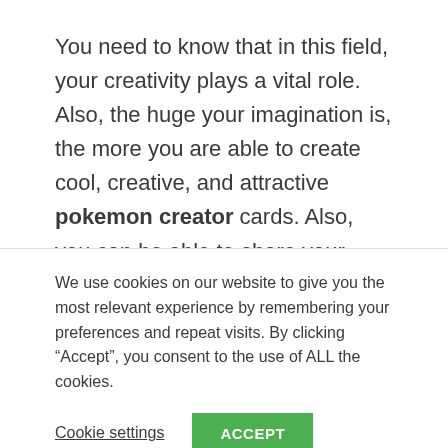You need to know that in this field, your creativity plays a vital role. Also, the huge your imagination is, the more you are able to create cool, creative, and attractive pokemon creator cards. Also, you can be able to share your pokecards with other pokemon fans and also with the users or readers of this website as well.
We use cookies on our website to give you the most relevant experience by remembering your preferences and repeat visits. By clicking “Accept”, you consent to the use of ALL the cookies.
Cookie settings
ACCEPT